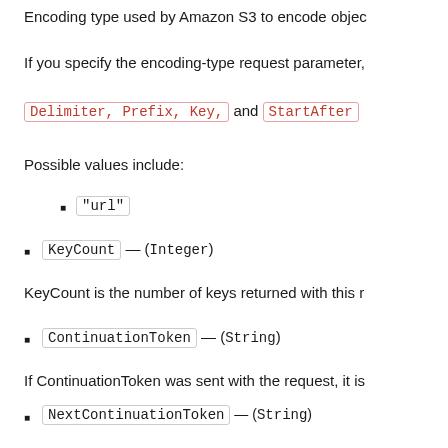Encoding type used by Amazon S3 to encode object...
If you specify the encoding-type request parameter,...
Delimiter, Prefix, Key, and StartAfter
Possible values include:
"url"
KeyCount — (Integer)
KeyCount is the number of keys returned with this r...
ContinuationToken — (String)
If ContinuationToken was sent with the request, it is...
NextContinuationToken — (String)
NextContinuationToken is sent when isTru...
StartAfter — (String)